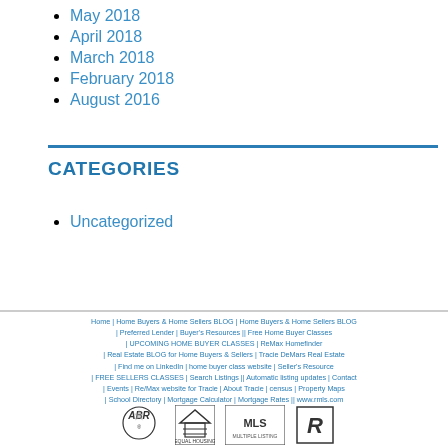May 2018
April 2018
March 2018
February 2018
August 2016
CATEGORIES
Uncategorized
Home | Home Buyers & Home Sellers BLOG | Home Buyers & Home Sellers BLOG | Preferred Lender | Buyer's Resources || Free Home Buyer Classes | UPCOMING HOME BUYER CLASSES | ReMax Homefinder | Real Estate BLOG for Home Buyers & Sellers | Tracie DeMars Real Estate | Find me on LinkedIn | home buyer class website | Seller's Resource | FREE SELLERS CLASSES | Search Listings || Automatic listing updates | Contact | Events | Re/Max website for Tracie | About Tracie | census | Property Maps | School Directory | Mortgage Calculator | Mortgage Rates || www.rmls.com
[Figure (logo): Row of real estate logos: ABR, Equal Housing, MLS, and Realtor logos]